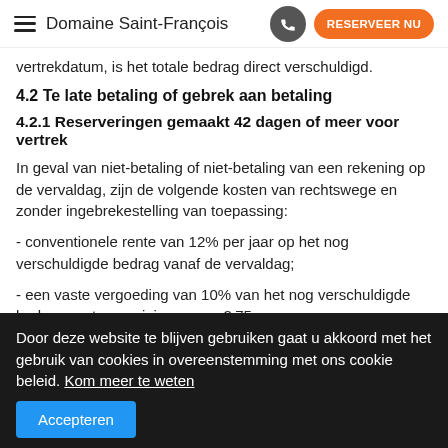Domaine Saint-François
vertrekdatum, is het totale bedrag direct verschuldigd.
4.2 Te late betaling of gebrek aan betaling
4.2.1 Reserveringen gemaakt 42 dagen of meer voor vertrek
In geval van niet-betaling of niet-betaling van een rekening op de vervaldag, zijn de volgende kosten van rechtswege en zonder ingebrekestelling van toepassing:
- conventionele rente van 12% per jaar op het nog verschuldigde bedrag vanaf de vervaldag;
- een vaste vergoeding van 10% van het nog verschuldigde bedrag, met een minimum van € 75;
Als een rekening niet volledig is betaald op de vervaldatum, heeft Terres des îles, bestemming Guadeloupe, het recht om
Door deze website te blijven gebruiken gaat u akkoord met het gebruik van cookies in overeenstemming met ons cookie beleid. Kom meer te weten
Accepteren